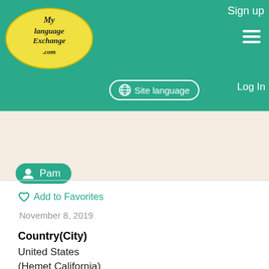Sign up
[Figure (logo): MyLanguageExchange.com logo — yellow oval with cursive text]
Site language
Log In
[Figure (photo): User profile photo showing a person outdoors]
Pam
Add to Favorites
November 8, 2019
Country(City)
United States
(Hemet California)
Native Language
English
Practicing Language
Swahili
French
Description